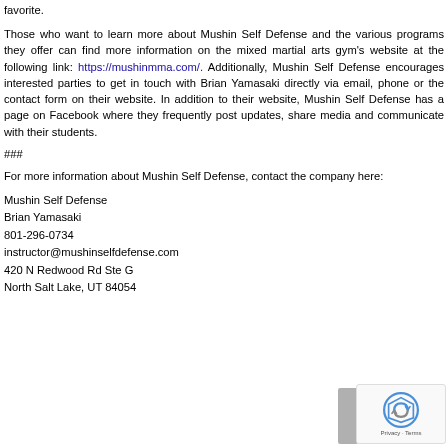favorite.
Those who want to learn more about Mushin Self Defense and the various programs they offer can find more information on the mixed martial arts gym's website at the following link: https://mushinmma.com/. Additionally, Mushin Self Defense encourages interested parties to get in touch with Brian Yamasaki directly via email, phone or the contact form on their website. In addition to their website, Mushin Self Defense has a page on Facebook where they frequently post updates, share media and communicate with their students.
###
For more information about Mushin Self Defense, contact the company here:
Mushin Self Defense
Brian Yamasaki
801-296-0734
instructor@mushinselfdefense.com
420 N Redwood Rd Ste G
North Salt Lake, UT 84054